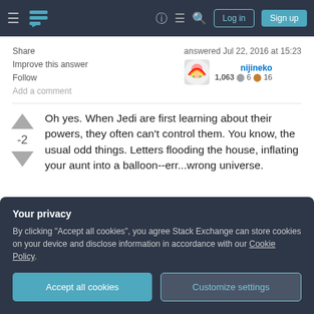Stack Exchange navigation bar with Log in and Sign up buttons
Share
Improve this answer
Follow
Add a comment
answered Jul 22, 2016 at 15:23
nijineko
1,063 ● 6 ● 16
Oh yes. When Jedi are first learning about their powers, they often can't control them. You know, the usual odd things. Letters flooding the house, inflating your aunt into a balloon--err...wrong universe.
Your privacy
By clicking "Accept all cookies", you agree Stack Exchange can store cookies on your device and disclose information in accordance with our Cookie Policy.
Accept all cookies
Customize settings